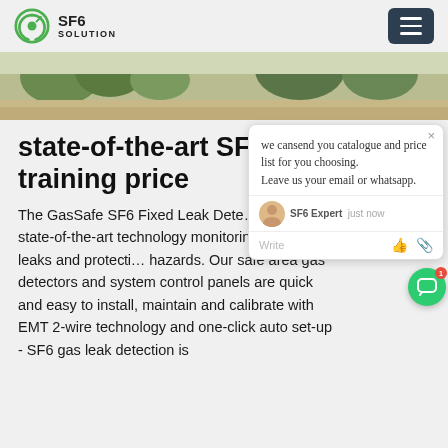SF6 SOLUTION
[Figure (screenshot): Outdoor scene with trees and rocky ground]
state-of-the-art SF6 n... training price
The GasSafe SF6 Fixed Leak Dete... provides state-of-the-art technology... monitoring of gas leaks and protecti... hazards. Our safe area gas detectors and system control panels are quick and easy to install, maintain and calibrate with EMT 2-wire technology and one-click auto set-up - SF6 gas leak detection is
we cansend you catalogue and price list for you choosing. Leave us your email or whatsapp.
Get Price
[Figure (photo): Bottom strip showing industrial equipment]